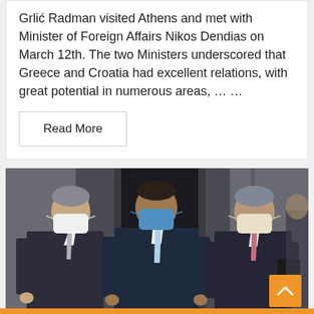Grlić Radman visited Athens and met with Minister of Foreign Affairs Nikos Dendias on March 12th. The two Ministers underscored that Greece and Croatia had excellent relations, with great potential in numerous areas, … …
Read More
[Figure (photo): Three men in dark suits wearing face masks standing in front of a building entrance. The man on the left wears a white mask with a light grey tie, the man in the center wears a blue mask with a light blue tie, and the man on the right wears a cream/beige mask with a pink/mauve tie and holds a black folder.]